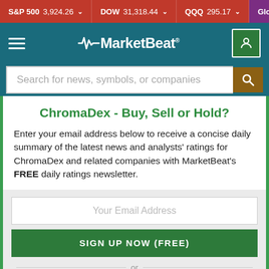S&P 500 3,924.26 ▼  DOW 31,318.44 ▼  QQQ 295.17 ▼  Global stoc
[Figure (screenshot): MarketBeat navigation bar with hamburger menu, MarketBeat logo with heartbeat icon, and user account icon]
Search for news, symbols, or companies
ChromaDex - Buy, Sell or Hold?
Enter your email address below to receive a concise daily summary of the latest news and analysts' ratings for ChromaDex and related companies with MarketBeat's FREE daily ratings newsletter.
Your Email Address
SIGN UP NOW (FREE)
or
Sign up with Google